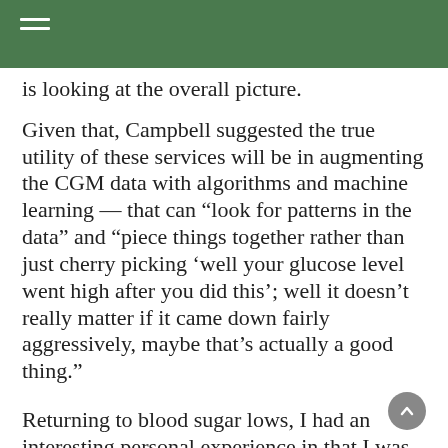is looking at the overall picture.
Given that, Campbell suggested the true utility of these services will be in augmenting the CGM data with algorithms and machine learning — that can “look for patterns in the data” and “piece things together rather than just cherry picking ‘well your glucose level went high after you did this’; well it doesn’t really matter if it came down fairly aggressively, maybe that’s actually a good thing.”
Returning to blood sugar lows, I had an interesting personal experience in that I was able to figure out — through usage of the app (including chatting to Ultrahuman’s